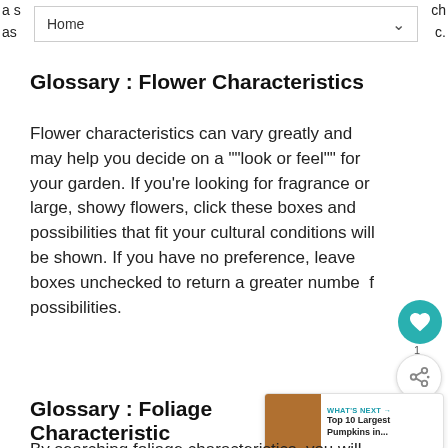a s... ch as... c.
Glossary : Flower Characteristics
Flower characteristics can vary greatly and may help you decide on a ""look or feel"" for your garden. If you're looking for fragrance or large, showy flowers, click these boxes and possibilities that fit your cultural conditions will be shown. If you have no preference, leave boxes unchecked to return a greater number of possibilities.
Glossary : Foliage Characteristics
By searching foliage characteristics, you will